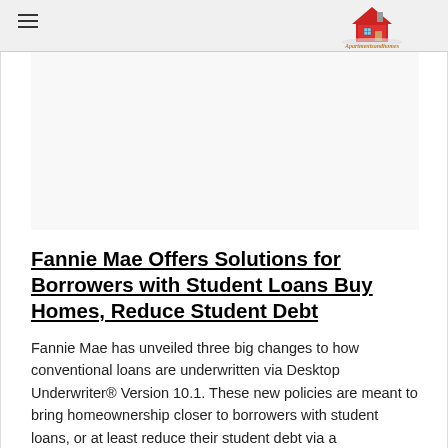Apartmentsandhomes
[Figure (other): Advertisement or blank content area placeholder]
Fannie Mae Offers Solutions for Borrowers with Student Loans Buy Homes, Reduce Student Debt
Fannie Mae has unveiled three big changes to how conventional loans are underwritten via Desktop Underwriter® Version 10.1. These new policies are meant to bring homeownership closer to borrowers with student loans, or at least reduce their student debt via a